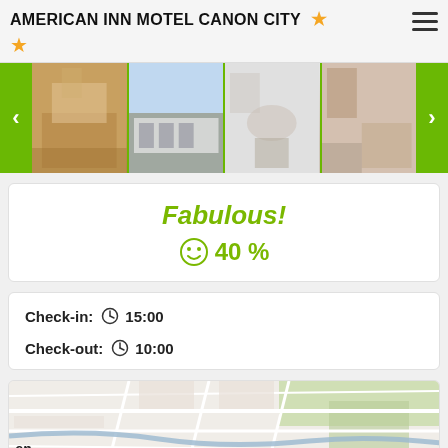AMERICAN INN MOTEL CANON CITY ★
[Figure (photo): Photo strip carousel showing 4 motel interior and exterior photos with green navigation arrows on left and right]
Fabulous!
☺ 40 %
Check-in: ⊙ 15:00
Check-out: ⊙ 10:00
[Figure (map): Street map showing local area around the motel in Canon City]